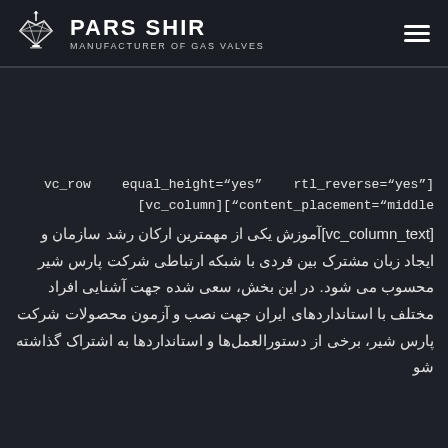PARS SHIR — MANUFACTURER OF GAS VALVES
vc_row equal_height="yes" rtl_reverse="yes"] [vc_column]["content_placement="middle [vc_column_text]آموزش یکی از مهمترین ارکان رشد سازمان و ایجاد زبان مشترک بین فردی با شبکه ارتباطی شرکت پارس شیر محسوب می شود. در این بخش، سعی شده جهت آشنایی افراد مختلف با استانداردهای ایران جهت نصب و آزمون محصولات شرکت پارس شیر، برخی از دستورالعمل‌ها و استانداردها به اشتراک گذاشته شو